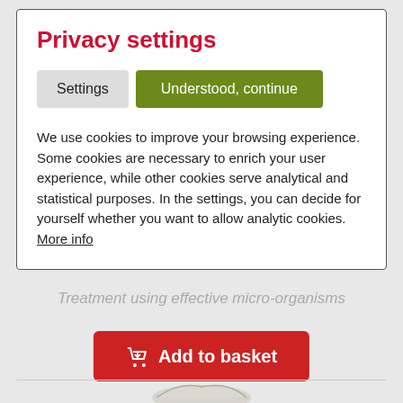Privacy settings
Settings
Understood, continue
We use cookies to improve your browsing experience. Some cookies are necessary to enrich your user experience, while other cookies serve analytical and statistical purposes. In the settings, you can decide for yourself whether you want to allow analytic cookies. More info
Treatment using effective micro-organisms
Add to basket
[Figure (photo): Partial view of a product (shell or hand-shaped object) visible at the bottom of the page]